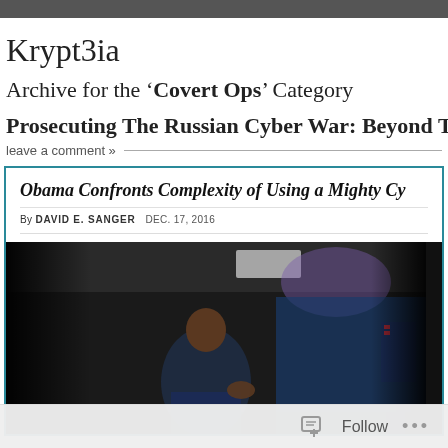Krypt3ia
Archive for the 'Covert Ops' Category
Prosecuting The Russian Cyber War: Beyond T
leave a comment »
[Figure (screenshot): Embedded newspaper article screenshot with headline 'Obama Confronts Complexity of Using a Mighty Cy', byline by David E. Sanger, Dec. 17, 2016, with a photo of President Obama speaking at a podium in a darkened room with blue backdrop]
Follow ...